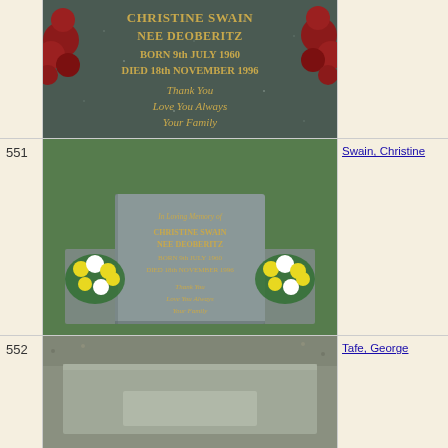[Figure (photo): Close-up of a dark granite gravestone with gold lettering reading 'CHRISTINE SWAIN NEE DEOBERITZ BORN 9th JULY 1960 DIED 18th NOVEMBER 1996 Thank You Love You Always Your Family', decorated with red flowers on either side. Top portion of image, partially cropped.]
551
[Figure (photo): Full view of a flat granite grave marker on grass, with text 'In Loving Memory of CHRISTINE SWAIN NEE DEOBERITZ BORN 9th JULY 1960 DIED 18th NOVEMBER 1996 Thank You Love You Always Your Family', flanked by yellow and white flower bouquets.]
Swain, Christine
552
[Figure (photo): Partial view of a flat grave marker on gravel/dirt, bottom of page cropped.]
Tafe, George